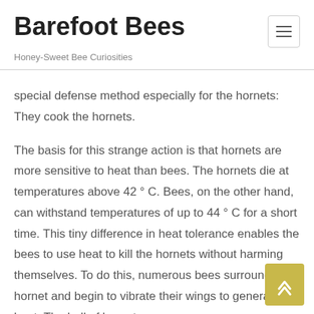Barefoot Bees
Honey-Sweet Bee Curiosities
special defense method especially for the hornets: They cook the hornets.
The basis for this strange action is that hornets are more sensitive to heat than bees. The hornets die at temperatures above 42 ° C. Bees, on the other hand, can withstand temperatures of up to 44 ° C for a short time. This tiny difference in heat tolerance enables the bees to use heat to kill the hornets without harming themselves. To do this, numerous bees surround the hornet and begin to vibrate their wings to generate heat. The ball of hornet